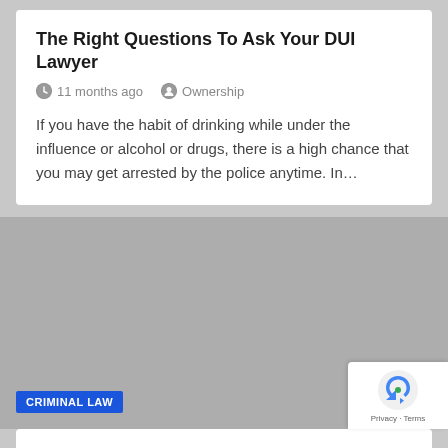The Right Questions To Ask Your DUI Lawyer
11 months ago   Ownership
If you have the habit of drinking while under the influence or alcohol or drugs, there is a high chance that you may get arrested by the police anytime. In…
[Figure (photo): Gray placeholder image with a blue 'CRIMINAL LAW' category badge in the lower left corner]
Legal Problems Of Alcoholism And Drugs